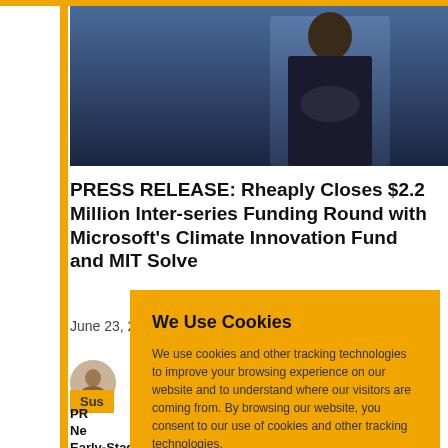[Figure (photo): Person in a dark suit standing in front of a blue background, photograph cropped to upper body]
PRESS RELEASE: Rheaply Closes $2.2 Million Inter-series Funding Round with Microsoft's Climate Innovation Fund and MIT Solve
June 23, 2021
[Figure (photo): Small circular author avatar photo]
Sus
PR
Ne
Early-Stage Social Entrepreneurs
We Use Cookies

We use cookies and other tracking technologies to improve your browsing experience on our website and to understand where our visitors are coming from. By browsing our website, you consent to our use of cookies and other tracking technologies.

ACCEPT   REJECT